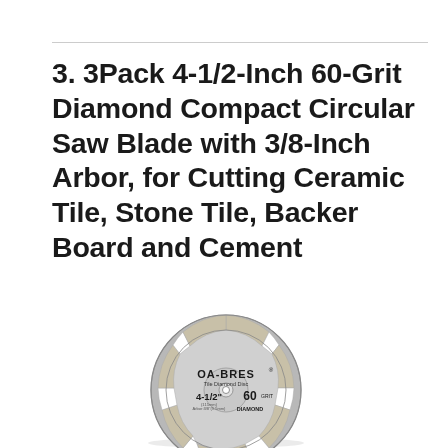3. 3Pack 4-1/2-Inch 60-Grit Diamond Compact Circular Saw Blade with 3/8-Inch Arbor, for Cutting Ceramic Tile, Stone Tile, Backer Board and Cement
[Figure (illustration): Circular diamond saw blade labeled OA-BRES, Tile Diamond Disc, 4-1/2 inch, 60 Grit, DIAMOND. Gray segmented blade with silver diamond rim segments and white slots, small center arbor hole.]